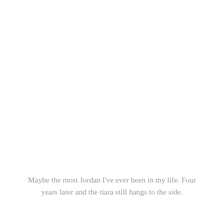Maybe the most Jordan I've ever been in my life. Four years later and the tiara still hangs to the side.